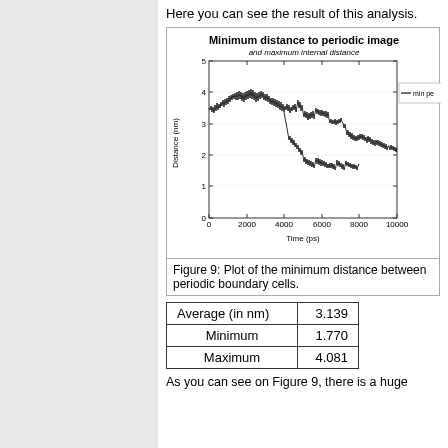Here you can see the result of this analysis.
[Figure (continuous-plot): Line plot showing minimum distance to periodic image and maximum internal distance over time. X-axis: Time (ps) from 0 to 10000. Y-axis: Distance (nm) from 0 to 5. The line fluctuates between approximately 2 and 4 nm.]
Figure 9: Plot of the minimum distance between periodic boundary cells.
| Average (in nm) | 3.139 |
| Minimum | 1.770 |
| Maximum | 4.081 |
As you can see on Figure 9, there is a huge